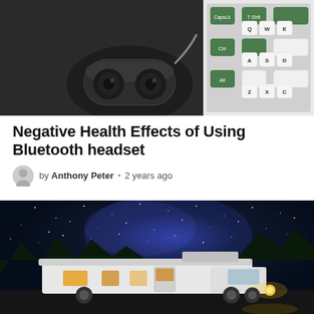[Figure (photo): Wireless earbuds in their charging case placed on a round pad, next to a mechanical keyboard with green and white keys, on a dark surface]
Negative Health Effects of Using Bluetooth headset
by Anthony Peter • 2 years ago
[Figure (photo): A white RV/motorhome parked at night under a starry sky with blue and purple hues, lights glowing from windows and headlights]